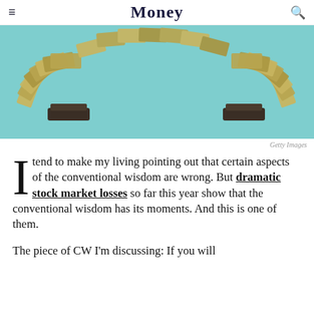Money
[Figure (photo): Two stacks of money with dollar bills forming an arc between them on a teal/mint background, arching like a bridge. Getty Images photo illustration.]
Getty Images
I tend to make my living pointing out that certain aspects of the conventional wisdom are wrong. But dramatic stock market losses so far this year show that the conventional wisdom has its moments. And this is one of them.
The piece of CW I'm discussing: If you will